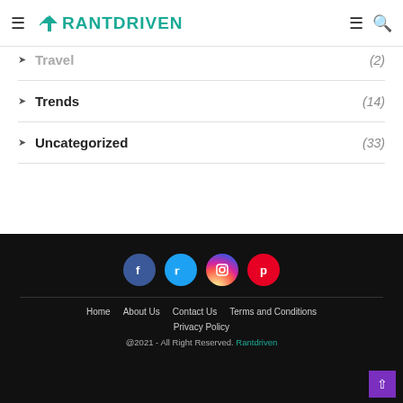RANTDRIVEN
Travel (2)
Trends (14)
Uncategorized (33)
[Figure (other): Footer with social media icons: Facebook, Twitter, Instagram, Pinterest]
Home | About Us | Contact Us | Terms and Conditions | Privacy Policy
@2021 - All Right Reserved. Rantdriven